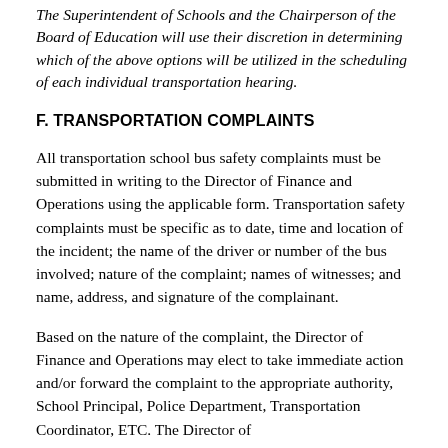The Superintendent of Schools and the Chairperson of the Board of Education will use their discretion in determining which of the above options will be utilized in the scheduling of each individual transportation hearing.
F. TRANSPORTATION COMPLAINTS
All transportation school bus safety complaints must be submitted in writing to the Director of Finance and Operations using the applicable form. Transportation safety complaints must be specific as to date, time and location of the incident; the name of the driver or number of the bus involved; nature of the complaint; names of witnesses; and name, address, and signature of the complainant.
Based on the nature of the complaint, the Director of Finance and Operations may elect to take immediate action and/or forward the complaint to the appropriate authority, School Principal, Police Department, Transportation Coordinator, ETC. The Director of